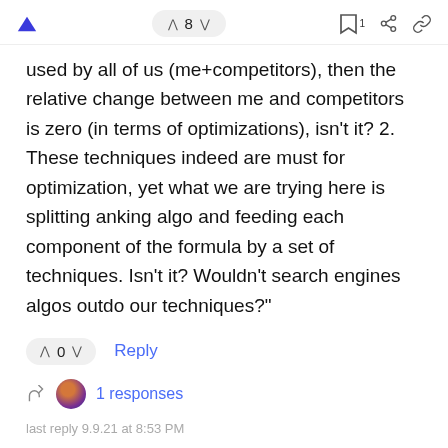↑  ^ 8 ∨  🔖 1  ⬡  🔗
used by all of us (me+competitors), then the relative change between me and competitors is zero (in terms of optimizations), isn't it? 2. These techniques indeed are must for optimization, yet what we are trying here is splitting anking algo and feeding each component of the formula by a set of techniques. Isn't it? Wouldn't search engines algos outdo our techniques?"
^ 0 ∨  Reply
1 responses
last reply 9.9.21 at 8:53 PM